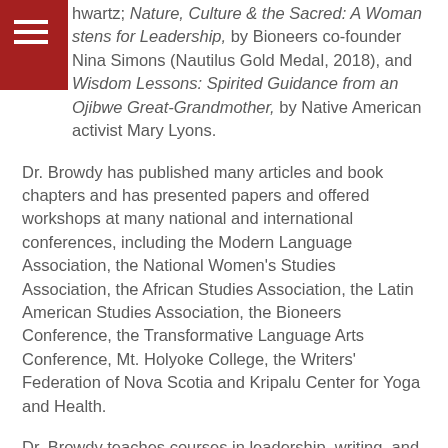hamburger menu icon
hwartz; Nature, Culture & the Sacred: A Woman stens for Leadership, by Bioneers co-founder Nina Simons (Nautilus Gold Medal, 2018), and Wisdom Lessons: Spirited Guidance from an Ojibwe Great-Grandmother, by Native American activist Mary Lyons.
Dr. Browdy has published many articles and book chapters and has presented papers and offered workshops at many national and international conferences, including the Modern Language Association, the National Women’s Studies Association, the African Studies Association, the Latin American Studies Association, the Bioneers Conference, the Transformative Language Arts Conference, Mt. Holyoke College, the Writers’ Federation of Nova Scotia and Kripalu Center for Yoga and Health.
Dr. Browdy teaches courses in leadership, writing, and